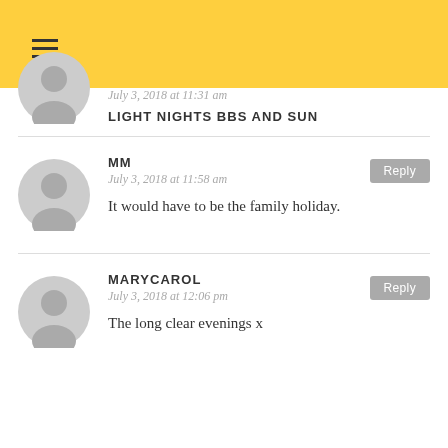≡ (hamburger menu)
July 3, 2018 at 11:31 am
LIGHT NIGHTS BBs AND SUN
MM
July 3, 2018 at 11:58 am
It would have to be the family holiday.
Reply
MARYCAROL
July 3, 2018 at 12:06 pm
The long clear evenings x
Reply